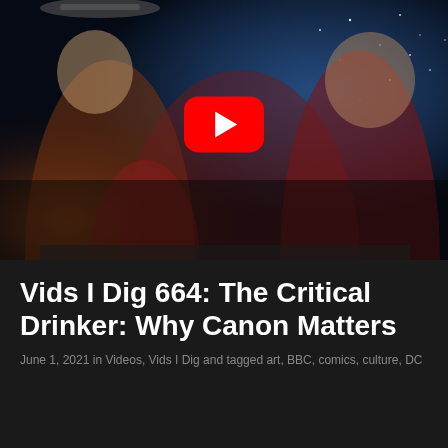[Figure (screenshot): YouTube video thumbnail showing Star Trek characters in red uniforms with a YouTube play button overlay in the center. Dark sci-fi themed image with space background on the right side.]
Vids I Dig 664: The Critical Drinker: Why Canon Matters
June 1, 2021 in Videos, Vids I Dig and tagged art, BBC, comics, culture, DC